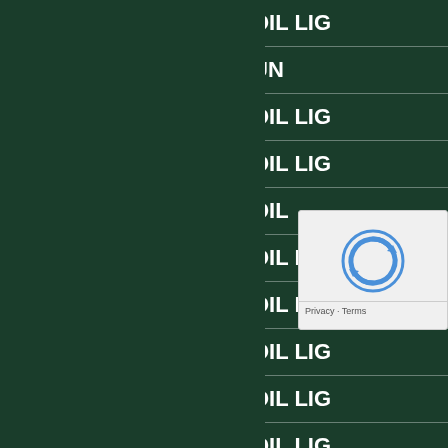| ID | TYPE |
| --- | --- |
| GPS108 | OIL LIG... |
| GPS109 | UN... |
| GPS110 | OIL LIG... |
| GPS111 | OIL LIG... |
| GPS112 | OIL... |
| GPS113 | OIL LIG... |
| GPS114 | OIL LIG... |
| GPS115 | OIL LIG... |
| GPS116 | OIL LIG... |
| GPS118 | OIL LIG... |
| GPS119 | OIL LIG... |
| GPS120 | OIL... |
| GPS123 |  |
| GPS124 |  |
| GPS125 | OIL PRE... |